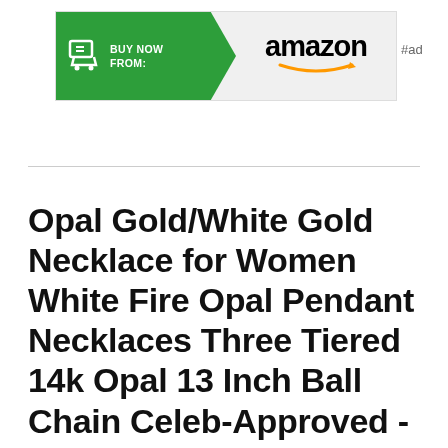[Figure (other): Amazon affiliate ad banner with green arrow shape containing shopping cart icon and 'BUY NOW FROM:' text, followed by Amazon logo with orange smile, and '#ad' label to the right]
Opal Gold/White Gold Necklace for Women White Fire Opal Pendant Necklaces Three Tiered 14k Opal 13 Inch Ball Chain Celeb-Approved - Benevolence LA Opal